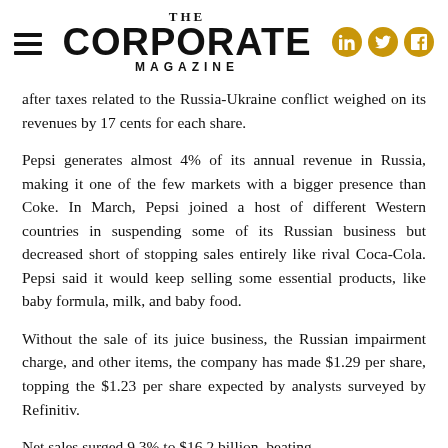THE CORPORATE MAGAZINE
after taxes related to the Russia-Ukraine conflict weighed on its revenues by 17 cents for each share.
Pepsi generates almost 4% of its annual revenue in Russia, making it one of the few markets with a bigger presence than Coke. In March, Pepsi joined a host of different Western countries in suspending some of its Russian business but decreased short of stopping sales entirely like rival Coca-Cola. Pepsi said it would keep selling some essential products, like baby formula, milk, and baby food.
Without the sale of its juice business, the Russian impairment charge, and other items, the company has made $1.29 per share, topping the $1.23 per share expected by analysts surveyed by Refinitiv.
Net sales surged 9.3% to $16.2 billion, beating